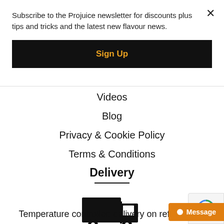Subscribe to the Projuice newsletter for discounts plus tips and tricks and the latest new flavour news.
Sign Up
Videos
Blog
Privacy & Cookie Policy
Terms & Conditions
Delivery
[Figure (illustration): Black delivery truck icon]
Temperature controlled delivery on refrigerated